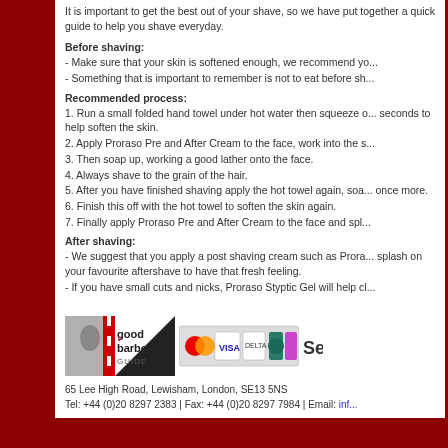It is important to get the best out of your shave, so we have put together a quick guide to help you shave everyday.
Before shaving:
- Make sure that your skin is softened enough, we recommend yo...
- Something that is important to remember is not to eat before sh...
Recommended process:
1. Run a small folded hand towel under hot water then squeeze o... seconds to help soften the skin.
2. Apply Proraso Pre and After Cream to the face, work into the s...
3. Then soap up, working a good lather onto the face.
4. Always shave to the grain of the hair.
5. After you have finished shaving apply the hot towel again, soa... once more.
6. Finish this off with the hot towel to soften the skin again.
7. Finally apply Proraso Pre and After Cream to the face and spl...
After shaving:
- We suggest that you apply a post shaving cream such as Prora... splash on your favourite aftershave to have that fresh feeling.
- If you have small cuts and nicks, Proraso Styptic Gel will help cl...
[Figure (logo): Good Barbers Guide logo and payment card logos]
65 Lee High Road, Lewisham, London, SE13 5NS
Tel: +44 (0)20 8297 2383 | Fax: +44 (0)20 8297 7984 | Email: info...